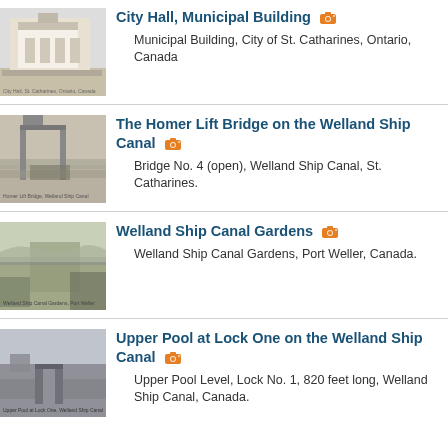[Figure (photo): Black and white postcard image of City Hall, Municipal Building, St. Catharines, Ontario]
City Hall, Municipal Building
Municipal Building, City of St. Catharines, Ontario, Canada
[Figure (photo): Black and white postcard image of the Homer Lift Bridge on the Welland Ship Canal with a ship passing through]
The Homer Lift Bridge on the Welland Ship Canal
Bridge No. 4 (open), Welland Ship Canal, St. Catharines.
[Figure (photo): Black and white postcard image of Welland Ship Canal Gardens, Port Weller]
Welland Ship Canal Gardens
Welland Ship Canal Gardens, Port Weller, Canada.
[Figure (photo): Black and white postcard image of Upper Pool at Lock One on the Welland Ship Canal]
Upper Pool at Lock One on the Welland Ship Canal
Upper Pool Level, Lock No. 1, 820 feet long, Welland Ship Canal, Canada.